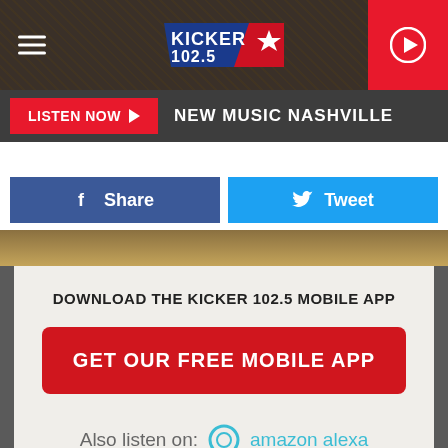[Figure (logo): Kicker 102.5 radio station mobile app page header with logo, hamburger menu, and play button]
LISTEN NOW   NEW MUSIC NASHVILLE
Share
Tweet
DOWNLOAD THE KICKER 102.5 MOBILE APP
GET OUR FREE MOBILE APP
Also listen on:  amazon alexa